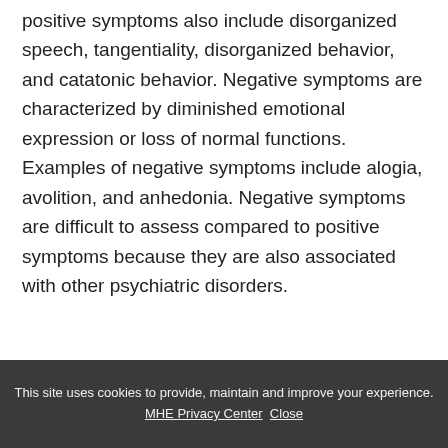positive symptoms also include disorganized speech, tangentiality, disorganized behavior, and catatonic behavior. Negative symptoms are characterized by diminished emotional expression or loss of normal functions. Examples of negative symptoms include alogia, avolition, and anhedonia. Negative symptoms are difficult to assess compared to positive symptoms because they are also associated with other psychiatric disorders.
This site uses cookies to provide, maintain and improve your experience. MHE Privacy Center  Close